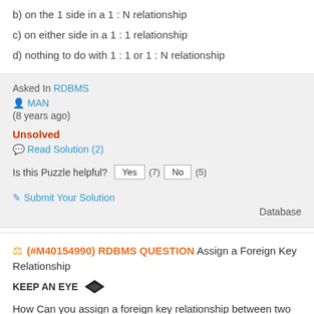b) on the 1 side in a 1 : N relationship
c) on either side in a 1 : 1 relationship
d) nothing to do with 1 : 1 or 1 : N relationship
Asked In RDBMS
MAN
(8 years ago)
Unsolved
Read Solution (2)
Is this Puzzle helpful? Yes (7) No (5)
Submit Your Solution
Database
(#M40154990) RDBMS QUESTION Assign a Foreign Key Relationship
KEEP AN EYE
How Can you assign a foreign key relationship between two tables in a database? Give your valuable answer.